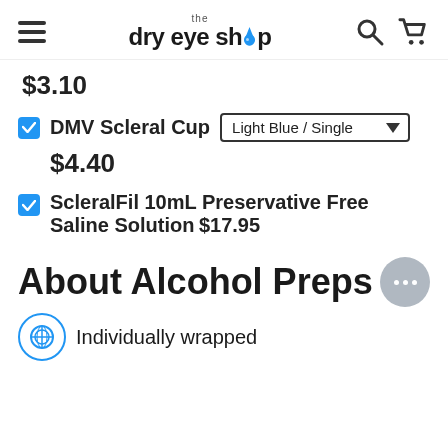the dry eye shop
$3.10
DMV Scleral Cup  Light Blue / Single  $4.40
ScleralFil 10mL Preservative Free Saline Solution  $17.95
About Alcohol Preps
Individually wrapped